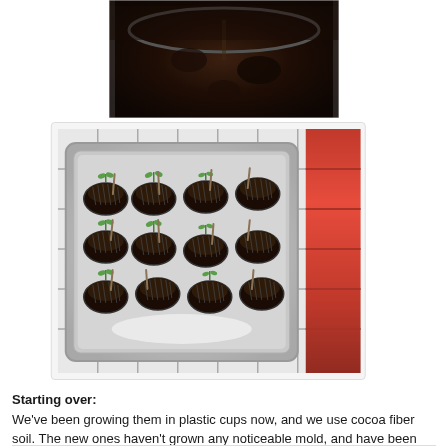[Figure (photo): Close-up photo of dark soil in a container, viewed from above, partially cropped at top of page]
[Figure (photo): Photo of seedlings growing in small mesh/basket cups arranged in rows inside a silver foil tray, placed on a wire shelf next to a red surface]
Starting over: We've been growing them in plastic cups now, and we use cocoa fiber soil. The new ones haven't grown any noticeable mold, and have been growing pretty nicely. We have noticed that the tomatoes aren't growing as fast as the lettuce, though.